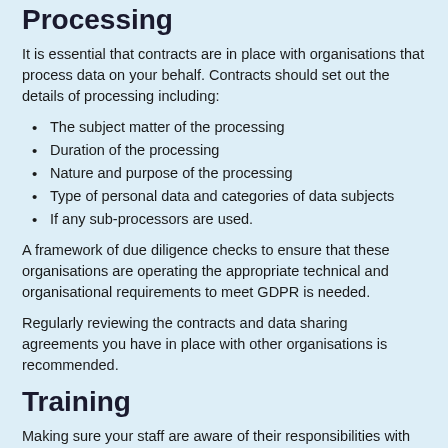Processing
It is essential that contracts are in place with organisations that process data on your behalf. Contracts should set out the details of processing including:
The subject matter of the processing
Duration of the processing
Nature and purpose of the processing
Type of personal data and categories of data subjects
If any sub-processors are used.
A framework of due diligence checks to ensure that these organisations are operating the appropriate technical and organisational requirements to meet GDPR is needed.
Regularly reviewing the contracts and data sharing agreements you have in place with other organisations is recommended.
Training
Making sure your staff are aware of their responsibilities with regard to processing personal data is key. Induction and